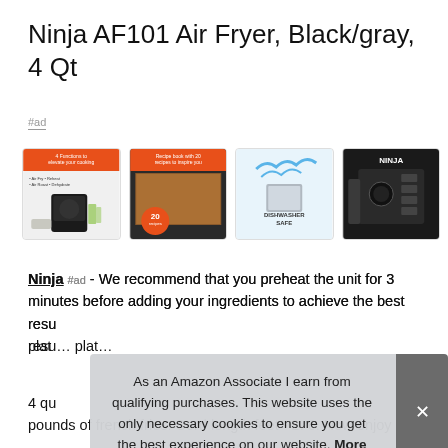Ninja AF101 Air Fryer, Black/gray, 4 Qt
#ad
[Figure (photo): Row of four product images: (1) air fryer with orange banner '4 Functions to elevate your cooking', (2) Recipe book with 20 recipes with food image, (3) Dishwasher safe badge with water and appliance, (4) Close-up of Ninja air fryer controls]
Ninja #ad - We recommend that you preheat the unit for 3 minutes before adding your ingredients to achieve the best results. With our crisper plate, you can cook on one plate
4 qu pounds of french fries. Cord length feet - 2. 6. Now enjoy guilt
As an Amazon Associate I earn from qualifying purchases. This website uses the only necessary cookies to ensure you get the best experience on our website. More information